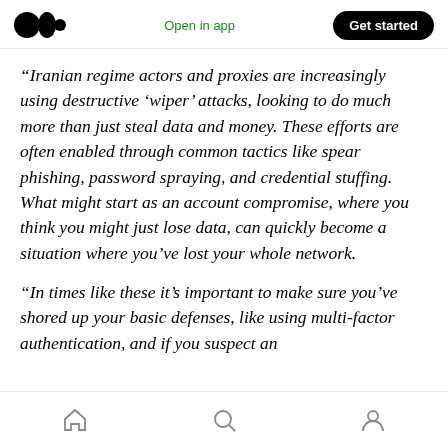Medium logo | Open in app | Get started
“Iranian regime actors and proxies are increasingly using destructive ‘wiper’ attacks, looking to do much more than just steal data and money. These efforts are often enabled through common tactics like spear phishing, password spraying, and credential stuffing. What might start as an account compromise, where you think you might just lose data, can quickly become a situation where you’ve lost your whole network.

“In times like these it’s important to make sure you’ve shored up your basic defenses, like using multi-factor authentication, and if you suspect an
Home | Search | Profile